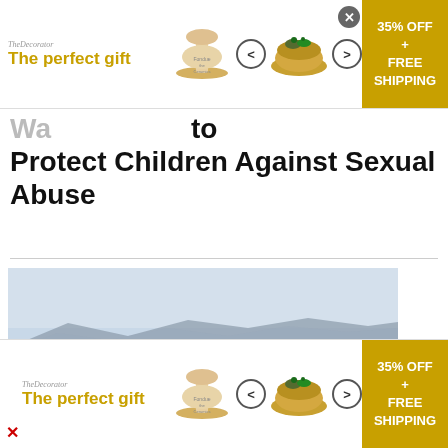[Figure (infographic): Advertisement banner: 'The perfect gift' with TheDecorator logo, decorative vessel images, navigation arrows, food bowl image, and gold box showing '35% OFF + FREE SHIPPING'. Close button (X) top right.]
Wa... to Protect Children Against Sexual Abuse
[Figure (screenshot): Video thumbnail of a beach scene with ocean waves, sandy shore, distant mountains/hills in background. Overlay shows '6:0' timestamp and '9& NEV' (KGET/9News) logo. X close button at bottom right.]
[Figure (infographic): Bottom advertisement banner repeating the same 'The perfect gift' TheDecorator ad with vessel, food bowl, navigation arrows, and gold '35% OFF + FREE SHIPPING' box. Red X close button at bottom left.]